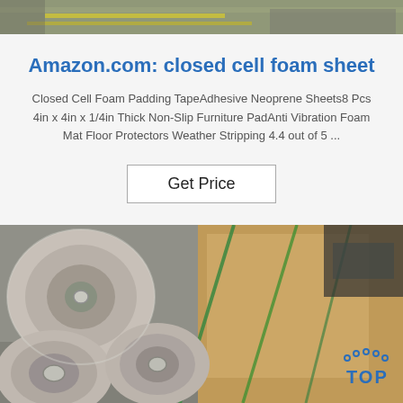[Figure (photo): Top portion of an industrial/warehouse photo showing yellow floor markings on a grey concrete or metal surface.]
Amazon.com: closed cell foam sheet
Closed Cell Foam Padding TapeAdhesive Neoprene Sheets8 Pcs 4in x 4in x 1/4in Thick Non-Slip Furniture PadAnti Vibration Foam Mat Floor Protectors Weather Stripping 4.4 out of 5 ...
Get Price
[Figure (photo): Photo of rolls of foam or sheet material wrapped in plastic, sitting in or near a cardboard box with green strapping lines. A 'TOP' logo watermark appears in the bottom right corner.]